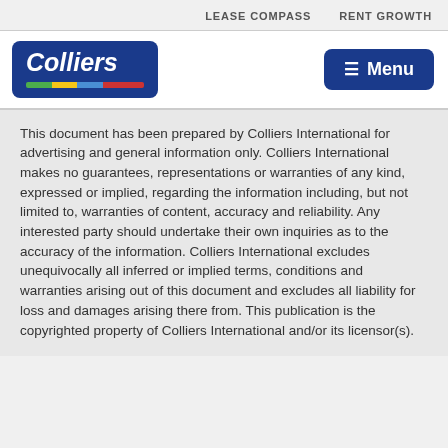LEASE COMPASS   RENT GROWTH
[Figure (logo): Colliers International logo — dark blue rounded rectangle with white italic text 'Colliers' and colored horizontal stripes (green, yellow, blue, red) at the bottom]
This document has been prepared by Colliers International for advertising and general information only. Colliers International makes no guarantees, representations or warranties of any kind, expressed or implied, regarding the information including, but not limited to, warranties of content, accuracy and reliability. Any interested party should undertake their own inquiries as to the accuracy of the information. Colliers International excludes unequivocally all inferred or implied terms, conditions and warranties arising out of this document and excludes all liability for loss and damages arising there from. This publication is the copyrighted property of Colliers International and/or its licensor(s).